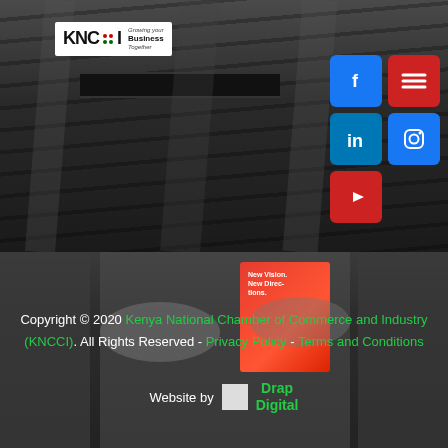[Figure (photo): Dark background showing a person in a suit with a black belt visible, top half of the page]
[Figure (logo): KNCCI Kenya National Chamber of Commerce and Industry logo in white box, top left]
[Figure (infographic): Social media icons: Facebook, hamburger menu, LinkedIn, Instagram, YouTube arranged in a grid on the right side]
[Figure (photo): Bottom half photo showing people at a business event holding red brochures]
Copyright © 2020 Kenya National Chamber of Commerce and Industry (KNCCI). All Rights Reserved - Privacy Policy - Terms and Conditions
Website by   Drap Digital